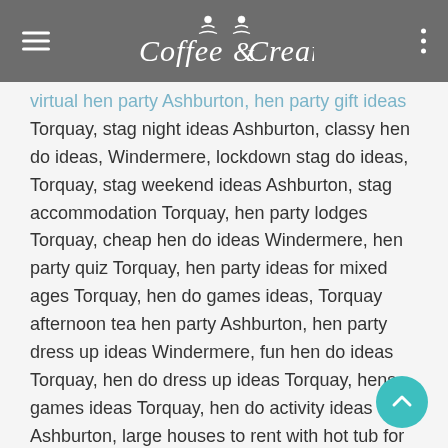Coffee & Cream
virtual hen party Ashburton, hen party gift ideas Torquay, stag night ideas Ashburton, classy hen do ideas, Windermere, lockdown stag do ideas, Torquay, stag weekend ideas Ashburton, stag accommodation Torquay, hen party lodges Torquay, cheap hen do ideas Windermere, hen party quiz Torquay, hen party ideas for mixed ages Torquay, hen do games ideas, Torquay afternoon tea hen party Ashburton, hen party dress up ideas Windermere, fun hen do ideas Torquay, hen do dress up ideas Torquay, hens games ideas Torquay, hen do activity ideas Ashburton, large houses to rent with hot tub for hen weekend Windermere, Sexy escorts Durham, hot strippers Durham, sexy strippers in Ashburton, Male escorts Windermere, Female escorts Durham, TV escorts Durham, mature escorts Torquay, young escorts Ashburton,